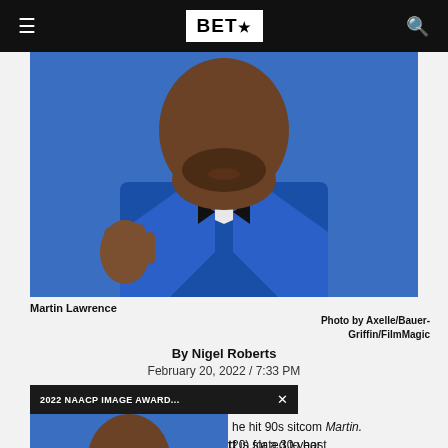BET★
[Figure (photo): Close-up photo of Martin Lawrence in a blue suit with black bow tie, against a blue background, gesturing with his hand]
Martin Lawrence
Photo by Axelle/Bauer-Griffin/FilmMagic
By Nigel Roberts
February 20, 2022 / 7:33 PM
2022 NAACP IMAGE AWARD...  ×
[Figure (photo): Thumbnail photo of Martin Lawrence in blue suit with glasses, blue background]
he hit 90s sitcom Martin. 20) for a 30-year t will air on BET+ later
Comedian and actor Affion Crockett is slated to host